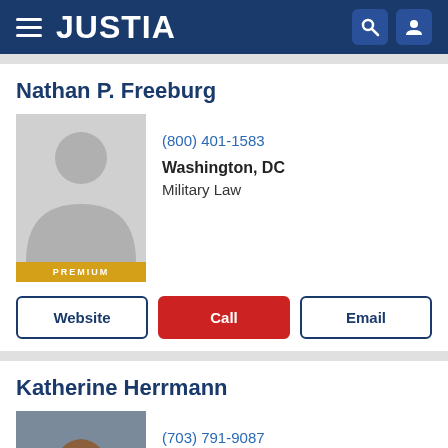JUSTIA
Nathan P. Freeburg
(800) 401-1583
Washington, DC
Military Law
Website
Call
Email
Katherine Herrmann
(703) 791-9087
Arlington, VA
Employment Law, Civil Rights, Appeals & Appe...